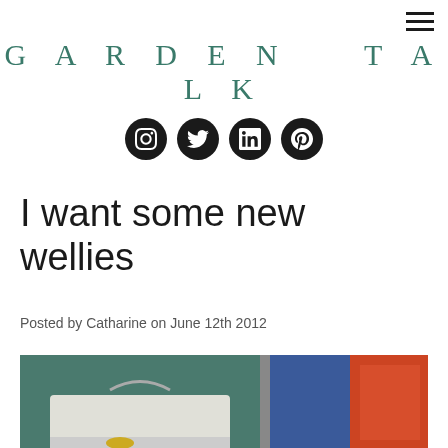GARDEN TALK
[Figure (infographic): Social media icons: Instagram, Twitter, LinkedIn, Pinterest — circular black buttons in a row]
I want some new wellies
Posted by Catharine on June 12th 2012
[Figure (photo): Photo of garden/outdoor items including what appears to be containers and plastic bags]